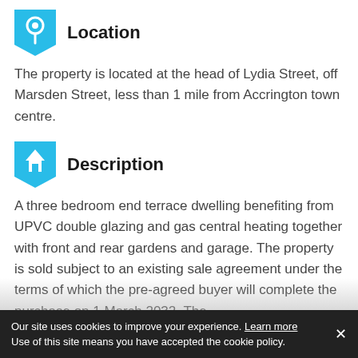Location
The property is located at the head of Lydia Street, off Marsden Street, less than 1 mile from Accrington town centre.
Description
A three bedroom end terrace dwelling benefiting from UPVC double glazing and gas central heating together with front and rear gardens and garage. The property is sold subject to an existing sale agreement under the terms of which the pre-agreed buyer will complete the purchase on 1 March 2032. The pre-agreed buyer is in occupation of the
Our site uses cookies to improve your experience. Learn more Use of this site means you have accepted the cookie policy.